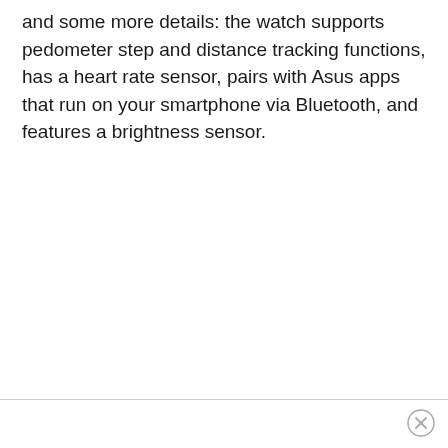and some more details: the watch supports pedometer step and distance tracking functions, has a heart rate sensor, pairs with Asus apps that run on your smartphone via Bluetooth, and features a brightness sensor.